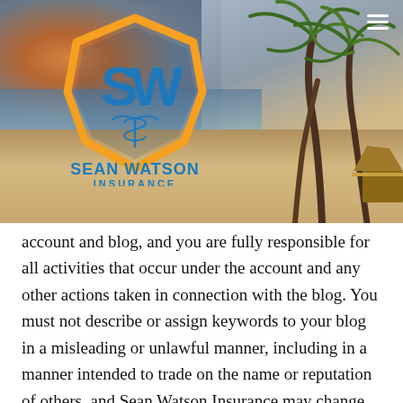[Figure (logo): Sean Watson Insurance logo — hexagonal shield shape in orange/gold outline with blue SW letters and caduceus symbol inside, with text 'SEAN WATSON INSURANCE' below in blue, set against a beach background with palm trees and dramatic sky]
account and blog, and you are fully responsible for all activities that occur under the account and any other actions taken in connection with the blog. You must not describe or assign keywords to your blog in a misleading or unlawful manner, including in a manner intended to trade on the name or reputation of others, and Sean Watson Insurance may change or remove any description or keyword that it considers inappropriate or